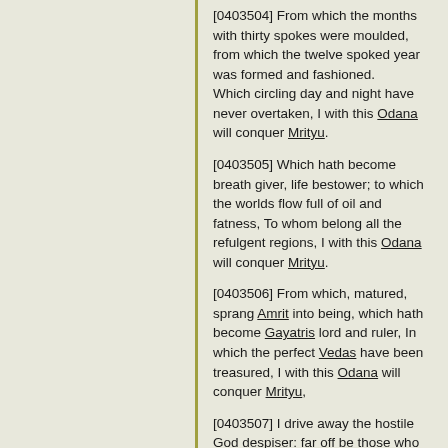[0403504] From which the months with thirty spokes were moulded, from which the twelve spoked year was formed and fashioned.
Which circling day and night have never overtaken, I with this Odana will conquer Mrityu.
[0403505] Which hath become breath giver, life bestower; to which the worlds flow full of oil and fatness, To whom belong all the refulgent regions, I with this Odana will conquer Mrityu.
[0403506] From which, matured, sprang Amrit into being, which hath become Gayatris lord and ruler, In which the perfect Vedas have been treasured, I with this Odana will conquer Mrityu,
[0403507] I drive away the hostile God despiser: far off be those who are mine adversaries, I dress Brahmaudana that winneth all things.
May the Gods hear me who believe and trust them.
HYMN XXXVI (36)
A charm against fiends, human enemies, and other pests
[0403601] Endowed with true strength, let the Bull, Agni Vaisvanara, burn them up.
Him who would pain and injure us, him who would treat us as a foe, [p. a146]